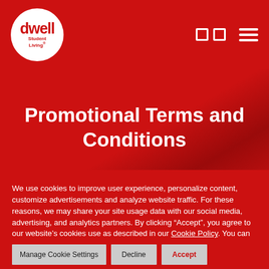[Figure (logo): Dwell Student Living logo — white circle with red 'dwell' text and 'Student Living' subtitle, on red navigation bar]
Promotional Terms and Conditions
We use cookies to improve user experience, personalize content, customize advertisements and analyze website traffic. For these reasons, we may share your site usage data with our social media, advertising, and analytics partners. By clicking “Accept”, you agree to our website’s cookies use as described in our Cookie Policy. You can change your cookie settings at any time by clicking “Cookie Settings”.
Do not sell my personal information.
Manage Cookie Settings
Decline
Accept